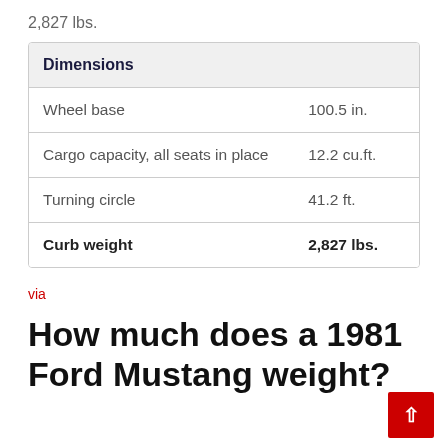2,827 lbs.
| Dimensions |  |
| --- | --- |
| Wheel base | 100.5 in. |
| Cargo capacity, all seats in place | 12.2 cu.ft. |
| Turning circle | 41.2 ft. |
| Curb weight | 2,827 lbs. |
via
How much does a 1981 Ford Mustang weight?